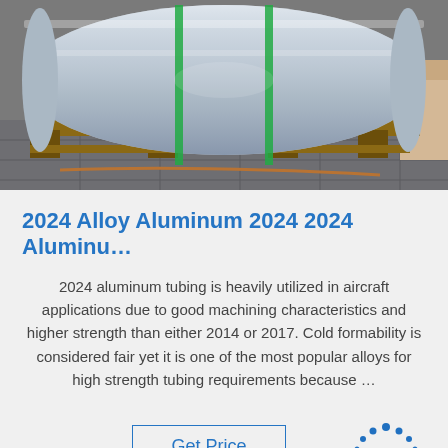[Figure (photo): Large rolls of aluminum sheeting/tubing on a wooden pallet on a concrete floor, wrapped with green straps.]
2024 Alloy Aluminum 2024 2024 Aluminu…
2024 aluminum tubing is heavily utilized in aircraft applications due to good machining characteristics and higher strength than either 2014 or 2017. Cold formability is considered fair yet it is one of the most popular alloys for high strength tubing requirements because …
Get Price
[Figure (logo): TOP logo — blue dots arranged in an arc above the text 'TOP' in blue letters]